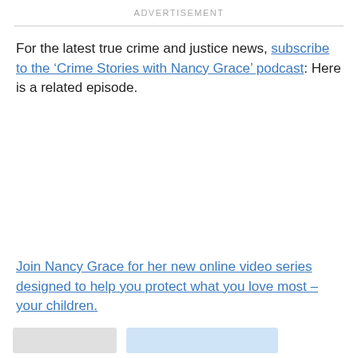ADVERTISEMENT
For the latest true crime and justice news, subscribe to the ‘Crime Stories with Nancy Grace’ podcast: Here is a related episode.
Join Nancy Grace for her new online video series designed to help you protect what you love most – your children.